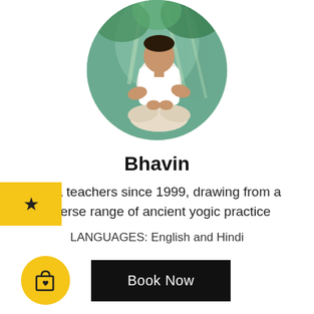[Figure (photo): Circular profile photo of a man (Bhavin) sitting cross-legged in a yoga/meditation pose, wearing a white t-shirt and light-colored pants, with a nature/forest background.]
Bhavin
Yoga teachers since 1999, drawing from a diverse range of ancient yogic practice
LANGUAGES: English and Hindi
Book Now